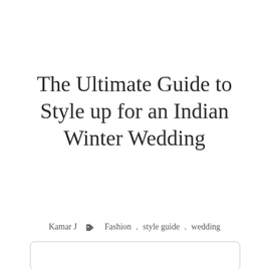The Ultimate Guide to Style up for an Indian Winter Wedding
Kamar J    Fashion , style guide , wedding
[Figure (other): Rounded rectangle image placeholder box, partially visible at bottom of page]